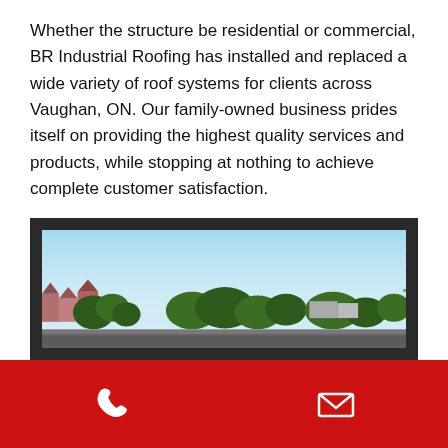Whether the structure be residential or commercial, BR Industrial Roofing has installed and replaced a wide variety of roof systems for clients across Vaughan, ON. Our family-owned business prides itself on providing the highest quality services and products, while stopping at nothing to achieve complete customer satisfaction.
[Figure (photo): Photograph of a flat rooftop with a view of trees, houses, and a suburban landscape under a clear blue sky]
Phone icon and email icon on red background bar